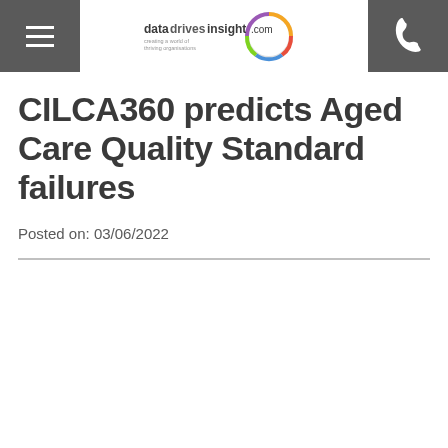datadrivesinsight.com — navigation header with hamburger menu and phone icon
CILCA360 predicts Aged Care Quality Standard failures
Posted on: 03/06/2022